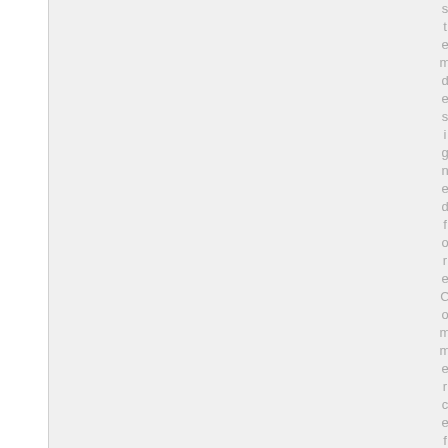stem designed for eCommerce fulfil...